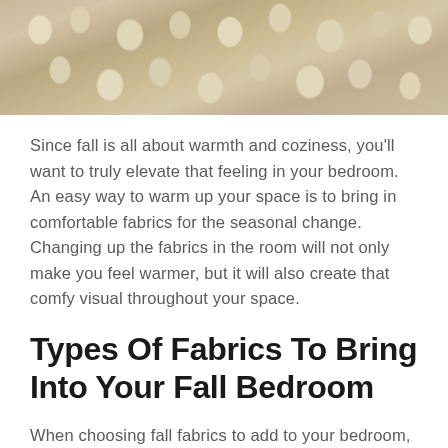[Figure (photo): Close-up photo of chunky knit cream/beige wool fabric texture]
Since fall is all about warmth and coziness, you'll want to truly elevate that feeling in your bedroom. An easy way to warm up your space is to bring in comfortable fabrics for the seasonal change. Changing up the fabrics in the room will not only make you feel warmer, but it will also create that comfy visual throughout your space.
Types Of Fabrics To Bring Into Your Fall Bedroom
When choosing fall fabrics to add to your bedroom, consider ones that are extra warm, thick, and comfortable. Since the weather is chilly outside, you'll